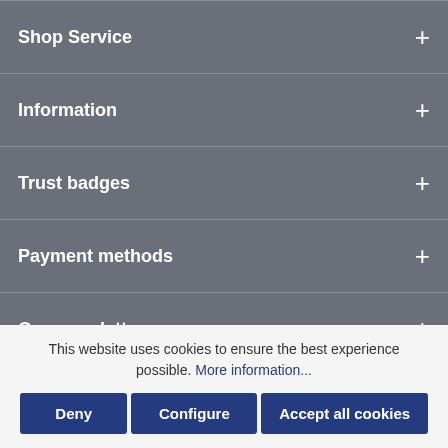Shop Service
Information
Trust badges
Payment methods
Our newsletter
[Figure (logo): PayPal logo button - white rounded rectangle with PayPal P logo in dark blue]
[Figure (other): Scroll to top button - dark blue square with upward arrow icon]
* All prices excl. VAT plus shipping costs and possible delivery
This website uses cookies to ensure the best experience possible. More information...
Deny
Configure
Accept all cookies